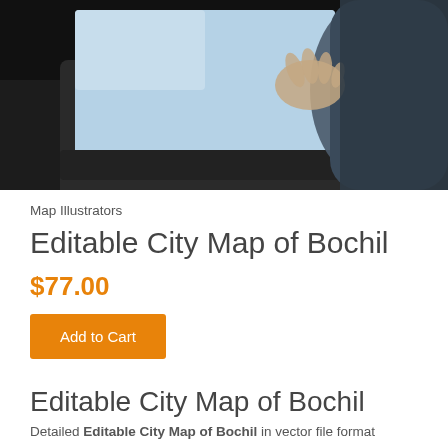[Figure (photo): A person in a dark jacket using a laptop or tablet device, photographed from above on a dark desk surface]
Map Illustrators
Editable City Map of Bochil
$77.00
Add to Cart
Editable City Map of Bochil
Detailed Editable City Map of Bochil in vector file format